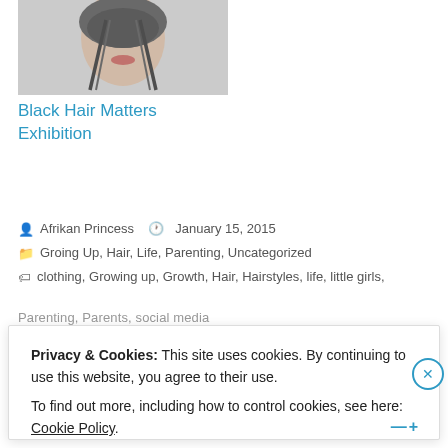[Figure (photo): Partial photo of a person with braids and red lips, likely an exhibition promotional image]
Black Hair Matters Exhibition
Afrikan Princess  January 15, 2015
Groing Up, Hair, Life, Parenting, Uncategorized
clothing, Growing up, Growth, Hair, Hairstyles, life, little girls,
Parenting, Parents, social media
Privacy & Cookies: This site uses cookies. By continuing to use this website, you agree to their use.
To find out more, including how to control cookies, see here: Cookie Policy
Close and accept